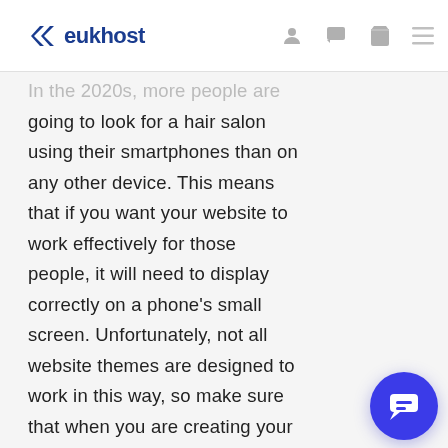eukhost
In the 2020s, more people are going to look for a hair salon using their smartphones than on any other device. This means that if you want your website to work effectively for those people, it will need to display correctly on a phone's small screen. Unfortunately, not all website themes are designed to work in this way, so make sure that when you are creating your website that a responsive (mobile-friendly) theme is used.
Responsive themes are